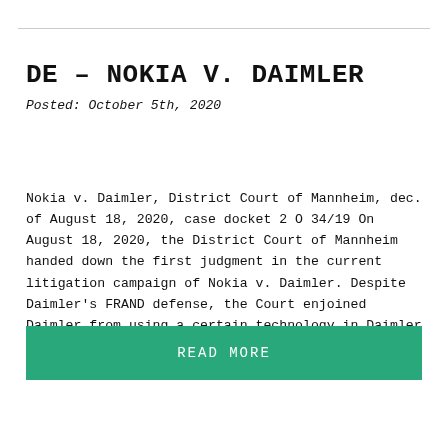DE – NOKIA V. DAIMLER
Posted: October 5th, 2020
Nokia v. Daimler, District Court of Mannheim, dec. of August 18, 2020, case docket 2 O 34/19 On August 18, 2020, the District Court of Mannheim handed down the first judgment in the current litigation campaign of Nokia v. Daimler. Despite Daimler's FRAND defense, the Court enjoined Daimler from using a certain technology in Daimler [...]
READ MORE